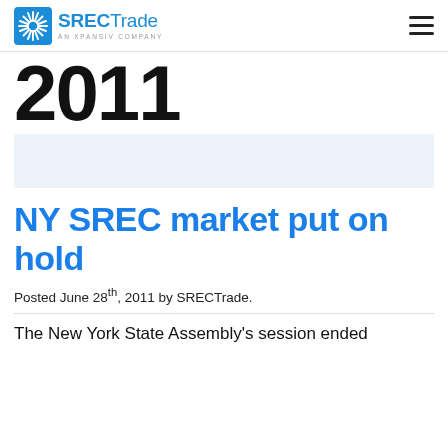SRECTrade — AN XPANSIV COMPANY
2011
[Figure (other): Light blue banner placeholder image]
NY SREC market put on hold
Posted June 28th, 2011 by SRECTrade.
The New York State Assembly's session ended